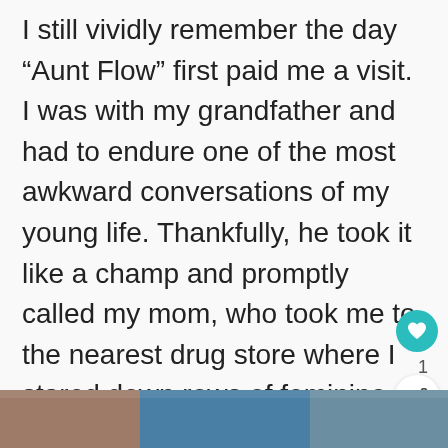I still vividly remember the day “Aunt Flow” first paid me a visit. I was with my grandfather and had to endure one of the most awkward conversations of my young life. Thankfully, he took it like a champ and promptly called my mom, who took me to the nearest drug store where I stared down rows of feminine care products trying to figure out the ins and outs of something I had been pretty oblivious to up until that point.
[Figure (photo): Partial image strip at the bottom of the page showing people, partially visible]